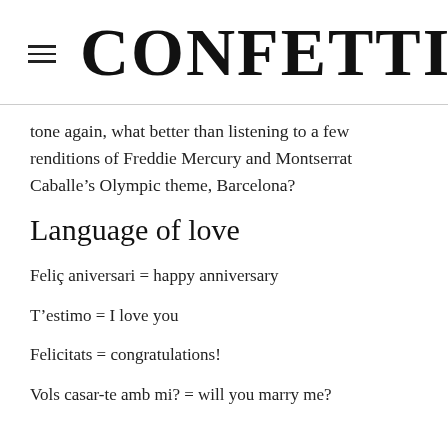CONFETTI
tone again, what better than listening to a few renditions of Freddie Mercury and Montserrat Caballe’s Olympic theme, Barcelona?
Language of love
Feliç aniversari = happy anniversary
T’estimo = I love you
Felicitats = congratulations!
Vols casar-te amb mi? = will you marry me?